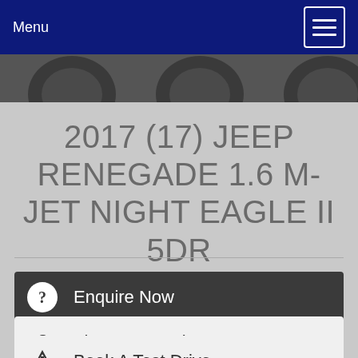Menu
[Figure (screenshot): Dark background image showing top portion of vehicle tires/wheels]
2017 (17) JEEP RENEGADE 1.6 M-JET NIGHT EAGLE II 5DR
Enquire Now
Finance Enquiry
Book A Test Drive